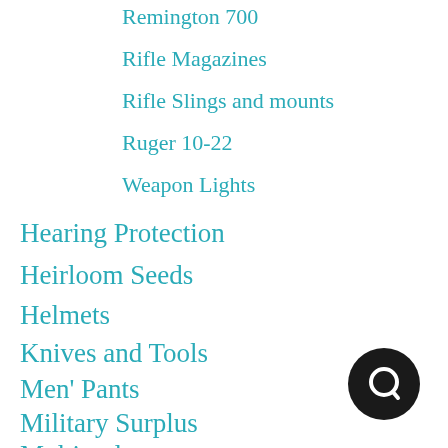Remington 700
Rifle Magazines
Rifle Slings and mounts
Ruger 10-22
Weapon Lights
Hearing Protection
Heirloom Seeds
Helmets
Knives and Tools
Men' Pants
Military Surplus
Multitools
[Figure (other): Black circular chat/search icon button in bottom right corner]